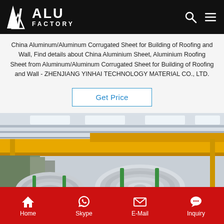ALU FACTORY
China Aluminum/Aluminum Corrugated Sheet for Building of Roofing and Wall, Find details about China Aluminium Sheet, Aluminium Roofing Sheet from Aluminum/Aluminum Corrugated Sheet for Building of Roofing and Wall - ZHENJIANG YINHAI TECHNOLOGY MATERIAL CO., LTD.
Get Price
[Figure (photo): Factory interior showing large aluminum coil rolls on the floor with yellow overhead crane beams visible in the ceiling of an industrial warehouse facility.]
Home  Skype  E-Mail  Inquiry